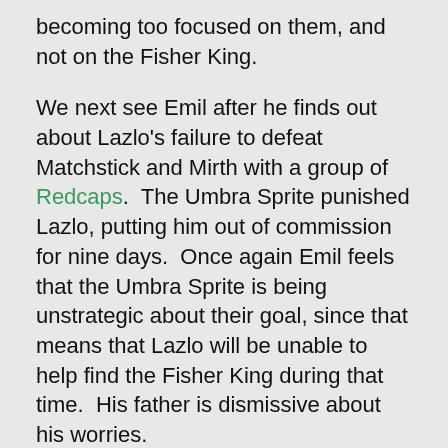becoming too focused on them, and not on the Fisher King.
We next see Emil after he finds out about Lazlo's failure to defeat Matchstick and Mirth with a group of Redcaps.  The Umbra Sprite punished Lazlo, putting him out of commission for nine days.  Once again Emil feels that the Umbra Sprite is being unstrategic about their goal, since that means that Lazlo will be unable to help find the Fisher King during that time.  His father is dismissive about his worries.
Five months pass.  Realizing that the Grackleflints are targeting lame homeless people, the heroes set up ambushes, pretending to be lame themselves.  Lazlo and Radu, along with a Redcap, happen upon one of these ambushes, and are routed by Matchstick and Edsel.  When Emil finds out, he is once again displeased with his